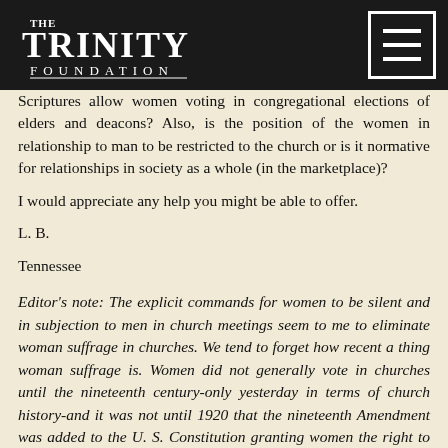The Trinity Foundation
Scriptures allow women voting in congregational elections of elders and deacons? Also, is the position of the women in relationship to man to be restricted to the church or is it normative for relationships in society as a whole (in the marketplace)?
I would appreciate any help you might be able to offer.
L. B.
Tennessee
Editor's note: The explicit commands for women to be silent and in subjection to men in church meetings seem to me to eliminate woman suffrage in churches. We tend to forget how recent a thing woman suffrage is. Women did not generally vote in churches until the nineteenth century-only yesterday in terms of church history-and it was not until 1920 that the nineteenth Amendment was added to the U. S. Constitution granting women the right to vote. As for a broader application of these principles of church